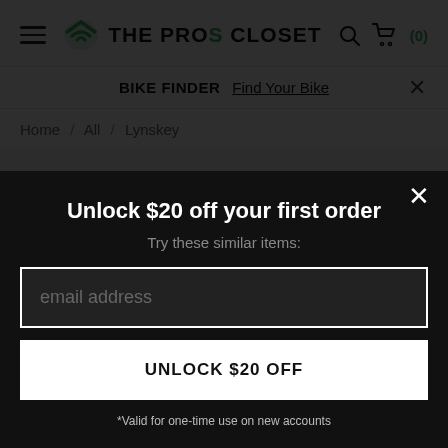THE PROS CLOSET
BIKE FINDER  Find Your Bike
Home / All / Lynskey
Sorry, this Lynskey R255 Road Bike - 2014, Large has been sold.
Try these similar items:
Unlock $20 off your first order
email address
UNLOCK $20 OFF
*Valid for one-time use on new accounts